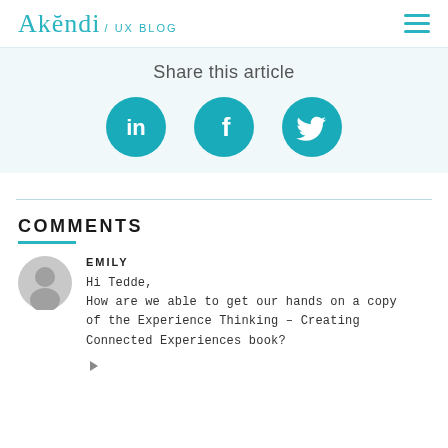Akẽndi / UX BLOG
Share this article
[Figure (illustration): Three teal circular social media icons: LinkedIn (in), Facebook (f), Twitter (bird logo)]
COMMENTS
EMILY
Hi Tedde,
How are we able to get our hands on a copy of the Experience Thinking – Creating Connected Experiences book?